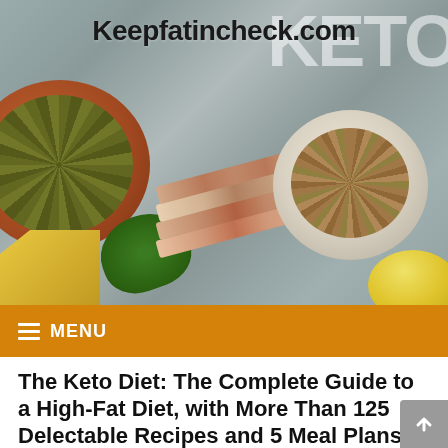[Figure (photo): A top-down food photography image showing keto-friendly foods on a gray stone/concrete surface: a terracotta bowl filled with pumpkin seeds (left), sliced bacon strips (center), a white ceramic bowl of flax/brown seeds (right), avocado slice, yellow cheese wedge (bottom left), and a small bowl of golden oil (bottom right). The website name 'Keepfatincheck.com' is overlaid in bold black text at the top, and the word 'KETO' appears in large semi-transparent white letters at the top right.]
Keepfatincheck.com
The Keto Diet: The Complete Guide to a High-Fat Diet, with More Than 125 Delectable Recipes and 5 Meal Plans to Shed Weight, Heal Your Body, and